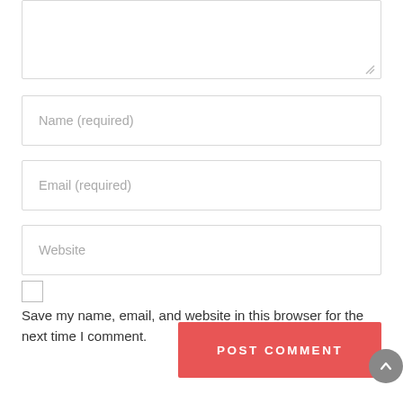[Figure (screenshot): Textarea input box (comment field) with resize handle at bottom right]
Name (required)
Email (required)
Website
Save my name, email, and website in this browser for the next time I comment.
POST COMMENT